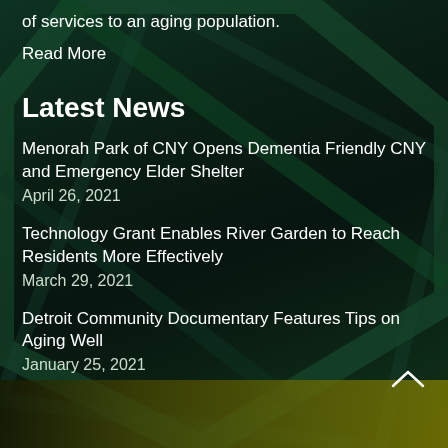of services to an aging population.
Read More
Latest News
Menorah Park of CNY Opens Dementia Friendly CNY and Emergency Elder Shelter
April 26, 2021
Technology Grant Enables River Garden to Reach Residents More Effectively
March 29, 2021
Detroit Community Documentary Features Tips on Aging Well
January 25, 2021